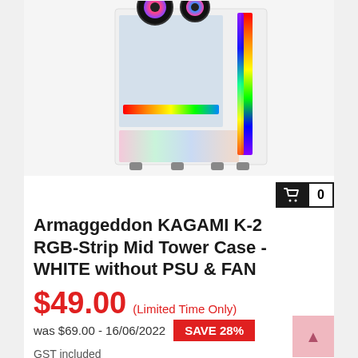[Figure (photo): White Armaggeddon KAGAMI K-2 RGB-Strip Mid Tower PC case with rainbow RGB lighting strips on the front and side, shown at an angle on a white background.]
Armaggeddon KAGAMI K-2 RGB-Strip Mid Tower Case - WHITE without PSU & FAN
$49.00 (Limited Time Only)
was $69.00 - 16/06/2022   SAVE 28%
GST included